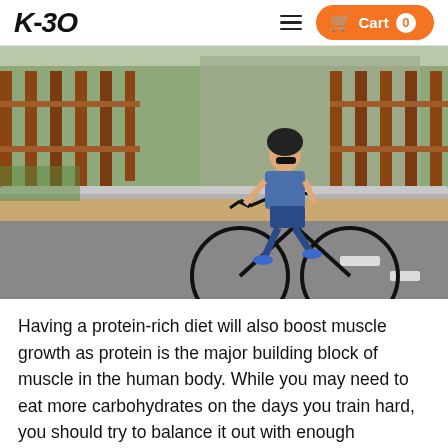KBO — Cart 0
[Figure (photo): Man riding a black electric bicycle on a road, wearing a blue patterned t-shirt, dark shorts, blue sneakers and a black helmet with sunglasses. Background shows a wooden fence, guardrail, and green trees/buildings.]
Having a protein-rich diet will also boost muscle growth as protein is the major building block of muscle in the human body. While you may need to eat more carbohydrates on the days you train hard, you should try to balance it out with enough